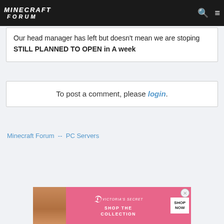MINECRAFT FORUM
Our head manager has left but doesn't mean we are stoping STILL PLANNED TO OPEN in A week
To post a comment, please login.
Minecraft Forum  --  PC Servers
[Figure (photo): Victoria's Secret advertisement banner with model, VS logo, SHOP THE COLLECTION text, and SHOP NOW button]